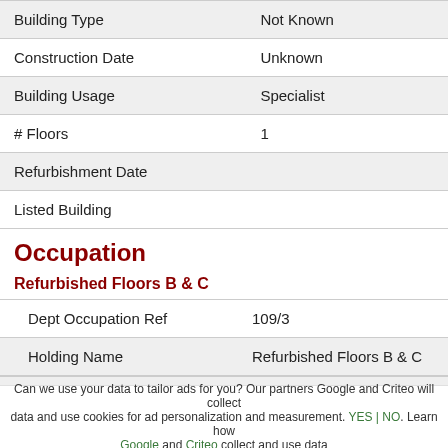| Field | Value |
| --- | --- |
| Building Type | Not Known |
| Construction Date | Unknown |
| Building Usage | Specialist |
| # Floors | 1 |
| Refurbishment Date |  |
| Listed Building |  |
Occupation
Refurbished Floors B & C
| Field | Value |
| --- | --- |
| Dept Occupation Ref | 109/3 |
| Holding Name | Refurbished Floors B & C |
| Tenant Department |  |
Can we use your data to tailor ads for you? Our partners Google and Criteo will collect data and use cookies for ad personalization and measurement. YES | NO. Learn how Google and Criteo collect and use data